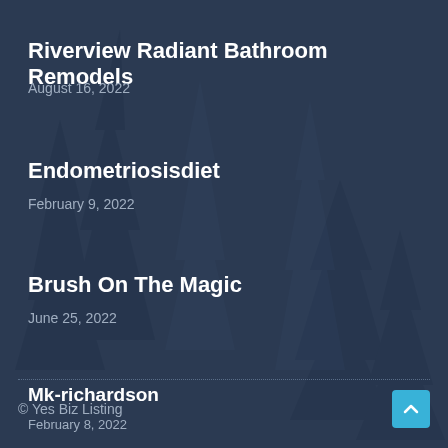Riverview Radiant Bathroom Remodels
August 16, 2022
Endometriosisdiet
February 9, 2022
Brush On The Magic
June 25, 2022
Mk-richardson
February 8, 2022
© Yes Biz Listing